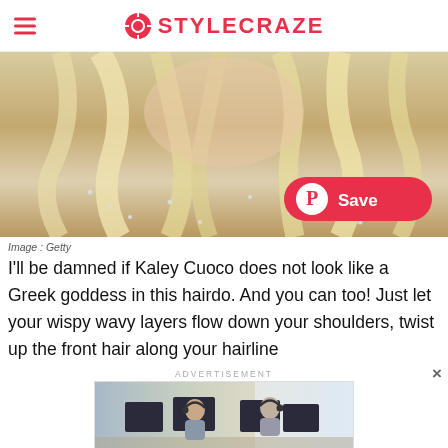STYLECRAZE
[Figure (photo): Close-up photo of a woman with long blonde wavy hair wearing a sparkly/beaded top, with a Pinterest Save button overlay in bottom right]
Image : Getty
I'll be damned if Kaley Cuoco does not look like a Greek goddess in this hairdo. And you can too! Just let your wispy wavy layers flow down your shoulders, twist up the front hair along your hairline
ADVERTISEMENT
[Figure (photo): Advertisement image showing two people wearing headsets working at computers in an office setting]